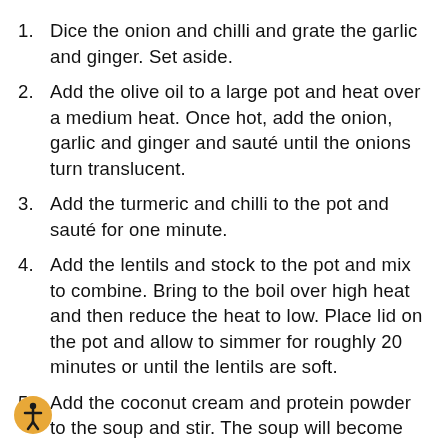1. Dice the onion and chilli and grate the garlic and ginger. Set aside.
2. Add the olive oil to a large pot and heat over a medium heat. Once hot, add the onion, garlic and ginger and sauté until the onions turn translucent.
3. Add the turmeric and chilli to the pot and sauté for one minute.
4. Add the lentils and stock to the pot and mix to combine. Bring to the boil over high heat and then reduce the heat to low. Place lid on the pot and allow to simmer for roughly 20 minutes or until the lentils are soft.
5. Add the coconut cream and protein powder to the soup and stir. The soup will become